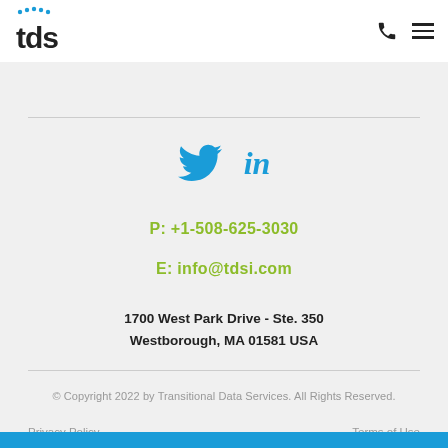[Figure (logo): TDS logo with blue dots and bold text]
[Figure (illustration): Twitter bird icon and LinkedIn 'in' icon in blue]
P: +1-508-625-3030
E: info@tdsi.com
1700 West Park Drive - Ste. 350
Westborough, MA 01581 USA
© Copyright 2022 by Transitional Data Services. All Rights Reserved.
Privacy Policy   Terms of Use